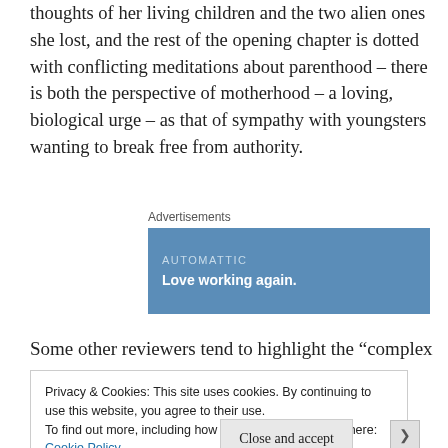thoughts of her living children and the two alien ones she lost, and the rest of the opening chapter is dotted with conflicting meditations about parenthood – there is both the perspective of motherhood – a loving, biological urge – as that of sympathy with youngsters wanting to break free from authority.
Advertisements
[Figure (other): Automattic advertisement banner with blue background, text 'AUTOMATTIC' and 'Love working again.']
Some other reviewers tend to highlight the "complex
Privacy & Cookies: This site uses cookies. By continuing to use this website, you agree to their use.
To find out more, including how to control cookies, see here:
Cookie Policy